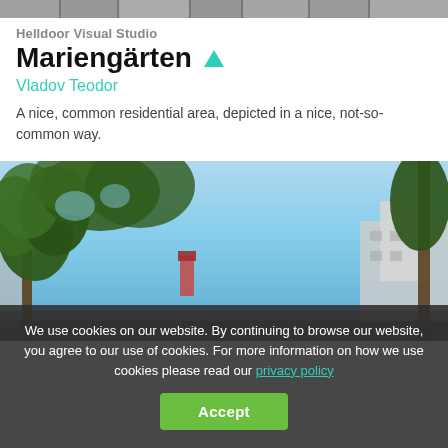[Figure (photo): Top portion of a cobblestone/pavement photo, cropped at top of page]
Helldoor Visual Studio
Mariengärten ▲
Vladov Teodor
A nice, common residential area, depicted in a nice, not-so-common way.
[Figure (photo): Outdoor photo looking up at trees with green foliage against a blue sky, with buildings visible in the background/periphery]
We use cookies on our website. By continuing to browse our website, you agree to our use of cookies. For more information on how we use cookies please read our privacy policy
Accept